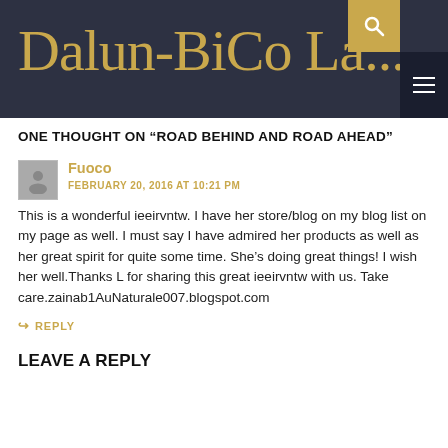Dalun-BiCo La...
ONE THOUGHT ON “ROAD BEHIND AND ROAD AHEAD”
Fuoco
FEBRUARY 20, 2016 AT 10:21 PM
This is a wonderful ieeirvntw. I have her store/blog on my blog list on my page as well. I must say I have admired her products as well as her great spirit for quite some time. She’s doing great things! I wish her well.Thanks L for sharing this great ieeirvntw with us. Take care.zainab1AuNaturale007.blogspot.com
↪ REPLY
LEAVE A REPLY